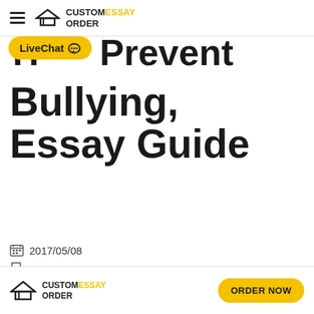CUSTOM ESSAY ORDER
How to Prevent Bullying, Essay Guide
2017/05/08
How to
Last modified on September 9th, 2021
CUSTOM ESSAY ORDER | ORDER NOW